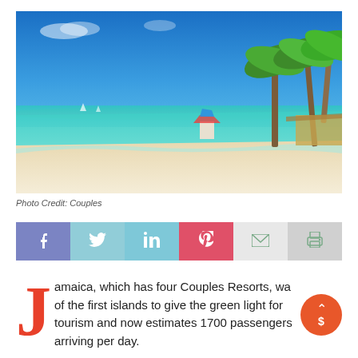[Figure (photo): Tropical beach scene with turquoise water, white sand, palm trees on the right, and blue sky. A colorful kiosk structure is visible mid-distance.]
Photo Credit: Couples
[Figure (infographic): Social media sharing bar with buttons for Facebook, Twitter, LinkedIn, Pinterest, Email, and Print]
Jamaica, which has four Couples Resorts, was one of the first islands to give the green light for tourism and now estimates 1700 passengers arriving per day.